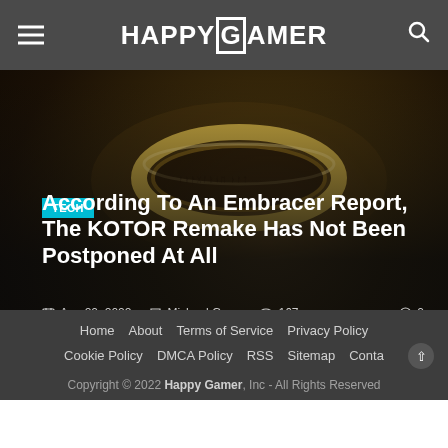HAPPYGAMER
[Figure (photo): A fantasy-style golden ring with elvish script engraving, lying on a dark textured surface, dramatic dark lighting]
TECH
According To An Embracer Report, The KOTOR Remake Has Not Been Postponed At All
Aug 20, 2022   Michael Gunn   167   0
Home   About   Terms of Service   Privacy Policy   Cookie Policy   DMCA Policy   RSS   Sitemap   Contact
Copyright © 2022 Happy Gamer, Inc - All Rights Reserved